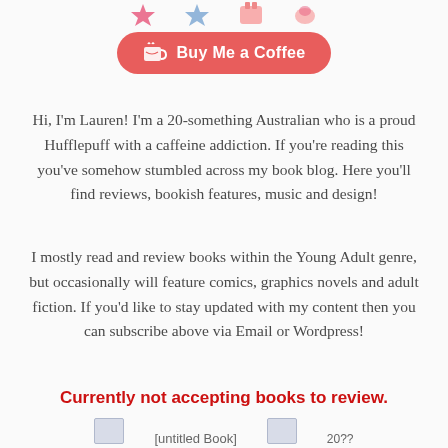[Figure (other): Partial top icons/decorative images cropped at top of page]
[Figure (other): Buy Me a Coffee button — red/salmon rounded pill button with coffee cup icon and text 'Buy Me a Coffee']
Hi, I'm Lauren! I'm a 20-something Australian who is a proud Hufflepuff with a caffeine addiction. If you're reading this you've somehow stumbled across my book blog. Here you'll find reviews, bookish features, music and design!
I mostly read and review books within the Young Adult genre, but occasionally will feature comics, graphics novels and adult fiction. If you'd like to stay updated with my content then you can subscribe above via Email or Wordpress!
Currently not accepting books to review.
[Figure (other): Partial bottom icons cropped at bottom of page]